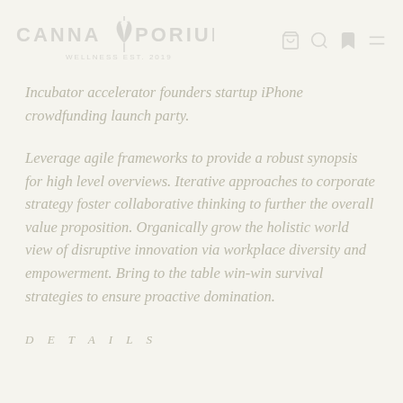CANNAPORIUM WELLNESS EST. 2019
Incubator accelerator founders startup iPhone crowdfunding launch party.
Leverage agile frameworks to provide a robust synopsis for high level overviews. Iterative approaches to corporate strategy foster collaborative thinking to further the overall value proposition. Organically grow the holistic world view of disruptive innovation via workplace diversity and empowerment. Bring to the table win-win survival strategies to ensure proactive domination.
DETAILS